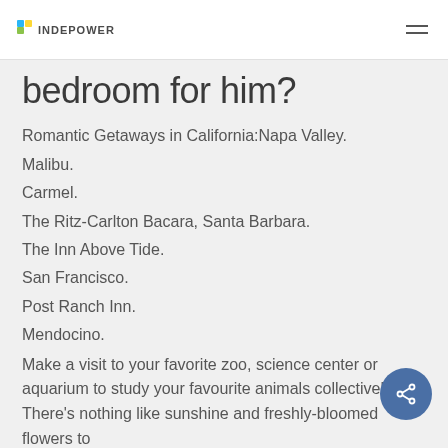INDEPOWER
bedroom for him?
Romantic Getaways in California:Napa Valley.
Malibu.
Carmel.
The Ritz-Carlton Bacara, Santa Barbara.
The Inn Above Tide.
San Francisco.
Post Ranch Inn.
Mendocino.
Make a visit to your favorite zoo, science center or aquarium to study your favourite animals collectively. There's nothing like sunshine and freshly-bloomed flowers to